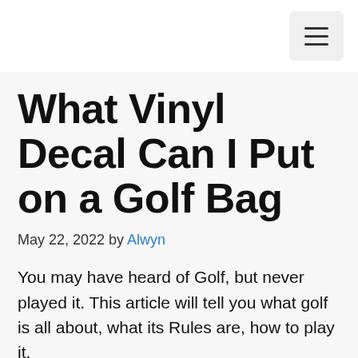☰
What Vinyl Decal Can I Put on a Golf Bag
May 22, 2022 by Alwyn
You may have heard of Golf, but never played it. This article will tell you what golf is all about, what its Rules are, how to play it,